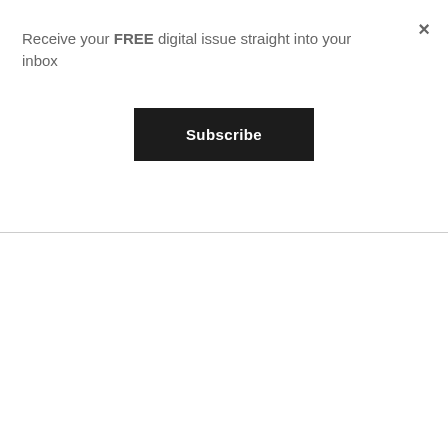×
Receive your FREE digital issue straight into your inbox
Subscribe